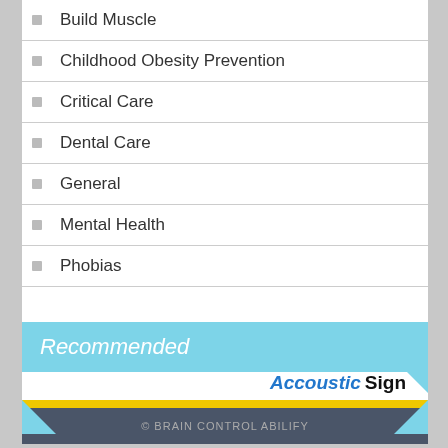Build Muscle
Childhood Obesity Prevention
Critical Care
Dental Care
General
Mental Health
Phobias
Recommended
Accoustic Sign
© BRAIN CONTROL ABILIFY